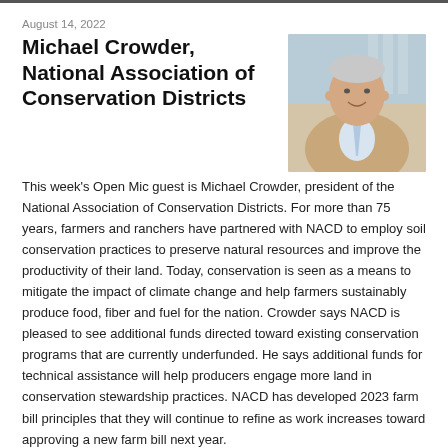August 14, 2022
Michael Crowder, National Association of Conservation Districts
[Figure (photo): Headshot of Michael Crowder, a man in a tan blazer and light blue tie, smiling, with a building visible in the background.]
This week's Open Mic guest is Michael Crowder, president of the National Association of Conservation Districts. For more than 75 years, farmers and ranchers have partnered with NACD to employ soil conservation practices to preserve natural resources and improve the productivity of their land. Today, conservation is seen as a means to mitigate the impact of climate change and help farmers sustainably produce food, fiber and fuel for the nation. Crowder says NACD is pleased to see additional funds directed toward existing conservation programs that are currently underfunded. He says additional funds for technical assistance will help producers engage more land in conservation stewardship practices. NACD has developed 2023 farm bill principles that they will continue to refine as work increases toward approving a new farm bill next year.
LISTEN HERE